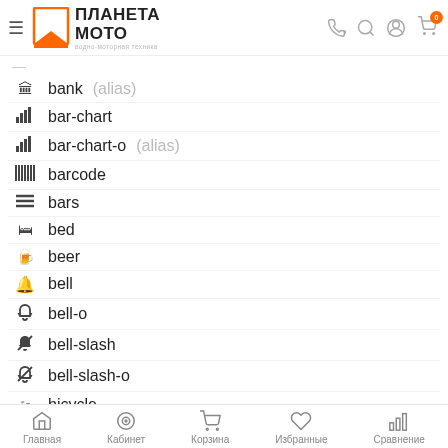ПЛАНЕТА МОТО — водно-моторная техника
bank (alias)
bar-chart
bar-chart-o (alias)
barcode
bars
bed
beer
bell
bell-o
bell-slash
bell-slash-o
bicycle
binoculars
Главная  Кабинет  Корзина  Избранные  Сравнение